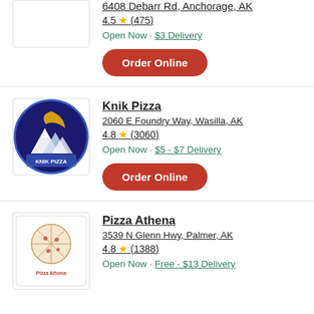6408 Debarr Rd, Anchorage, AK
4.5 ★ (475)
Open Now • $3 Delivery
Order Online
[Figure (logo): Knik Pizza logo - circular logo with mountain and moon]
Knik Pizza
2060 E Foundry Way, Wasilla, AK
4.8 ★ (3060)
Open Now • $5 - $7 Delivery
Order Online
[Figure (logo): Pizza Athena logo - circular pizza graphic with red text]
Pizza Athena
3539 N Glenn Hwy, Palmer, AK
4.8 ★ (1388)
Open Now • Free - $13 Delivery